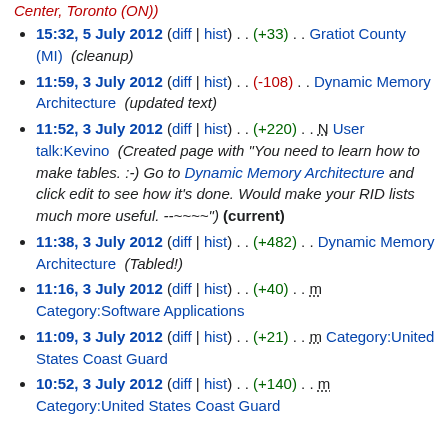Center, Toronto (ON))
15:32, 5 July 2012 (diff | hist) . . (+33) . . Gratiot County (MI)  (cleanup)
11:59, 3 July 2012 (diff | hist) . . (-108) . . Dynamic Memory Architecture  (updated text)
11:52, 3 July 2012 (diff | hist) . . (+220) . . N User talk:Kevino  (Created page with "You need to learn how to make tables. :-) Go to Dynamic Memory Architecture and click edit to see how it's done. Would make your RID lists much more useful. --~~~~") (current)
11:38, 3 July 2012 (diff | hist) . . (+482) . . Dynamic Memory Architecture  (Tabled!)
11:16, 3 July 2012 (diff | hist) . . (+40) . . m Category:Software Applications
11:09, 3 July 2012 (diff | hist) . . (+21) . . m Category:United States Coast Guard
10:52, 3 July 2012 (diff | hist) . . (+140) . . m Category:United States Coast Guard